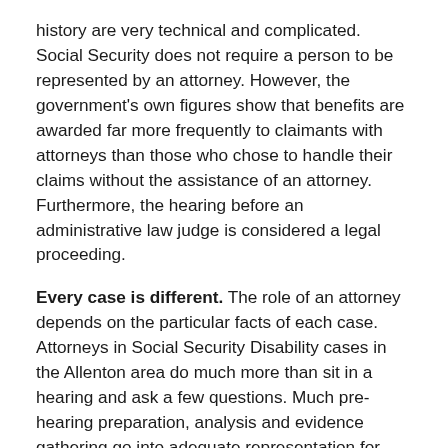history are very technical and complicated. Social Security does not require a person to be represented by an attorney. However, the government's own figures show that benefits are awarded far more frequently to claimants with attorneys than those who chose to handle their claims without the assistance of an attorney. Furthermore, the hearing before an administrative law judge is considered a legal proceeding.
Every case is different. The role of an attorney depends on the particular facts of each case. Attorneys in Social Security Disability cases in the Allenton area do much more than sit in a hearing and ask a few questions. Much pre-hearing preparation, analysis and evidence gathering go into adequate representation for each case.
At Kassin & Carrow, LLC, Social Security Disability is all we do. We bring you more than 30 years of experience in disability law and Social Security claims in Des Peres, MO. Since 1992, our practice has been limited to representing individuals in cases involving Social Security Disability and Supplemental Security Income benefits. We are also